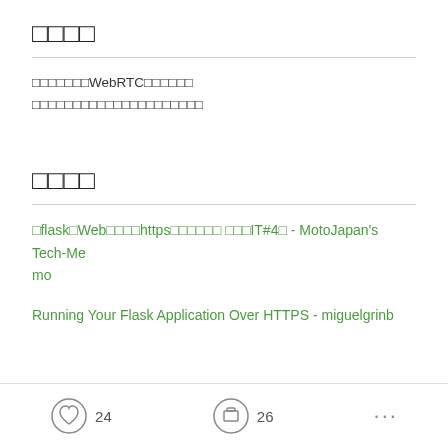□□□□
□□□□□□□WebRTC□□□□□□
□□□□□□□□□□□□□□□□□□□□□
□□□□
□flask□Web□□□□https□□□□□□ □□□IT#4□ - MotoJapan's Tech-Memo
Running Your Flask Application Over HTTPS - miguelgrinb
24  26  ...